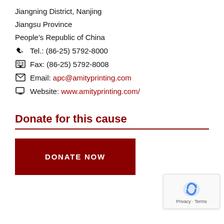Jiangning District, Nanjing
Jiangsu Province
People’s Republic of China
Tel.: (86-25) 5792-8000
Fax: (86-25) 5792-8008
Email: apc@amityprinting.com
Website: www.amityprinting.com/
Donate for this cause
[Figure (other): Dark red DONATE NOW button]
[Figure (other): reCAPTCHA widget showing Privacy and Terms]